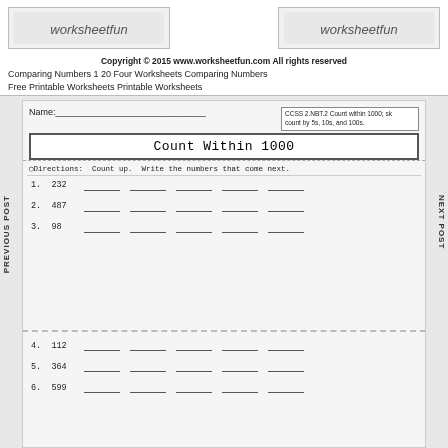[Figure (illustration): Two decorative banner images with stylized text/logo for worksheetfun.com]
Copyright © 2015 www.worksheetfun.com All rights reserved
Comparing Numbers 1 20 Four Worksheets Comparing Numbers Free Printable Worksheets Printable Worksheets
Name: ___________________________
CCSS 2.NBT.2 Count within 1000; skip count by 5s, 10s, and 100s.
Count Within 1000
☞ Directions: Count up. Write the numbers that come next.
1. 232  ___  ___  ___  ___  ___
2. 487  ___  ___  ___  ___  ___
3. 98   ___  ___  ___  ___  ___
4. 112  ___  ___  ___  ___  ___
5. 364  ___  ___  ___  ___  ___
6. 599  ___  ___  ___  ___  ___